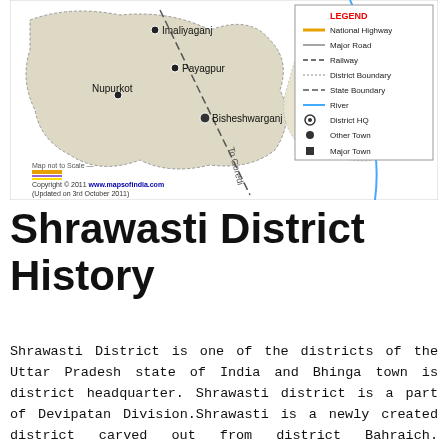[Figure (map): Map of Shrawasti District showing locations of Imaliyaganj, Payagpur, Nupurkot, Bisheshwarganj, and Gonoda, with a railway line (dashed), roads, and a legend indicating National Highway, Major Road, Railway, District Boundary, State Boundary, River, District HQ, Other Town, and Major Town. Copyright 2011 www.mapsofindia.com, Updated on 3rd October 2011.]
Shrawasti District History
Shrawasti District is one of the districts of the Uttar Pradesh state of India and Bhinga town is district headquarter. Shrawasti district is a part of Devipatan Division.Shrawasti is a newly created district carved out from district Bahraich. Shrawasti shares its border with district Balrampur,Gonda and Bahraich. Bhinga, the